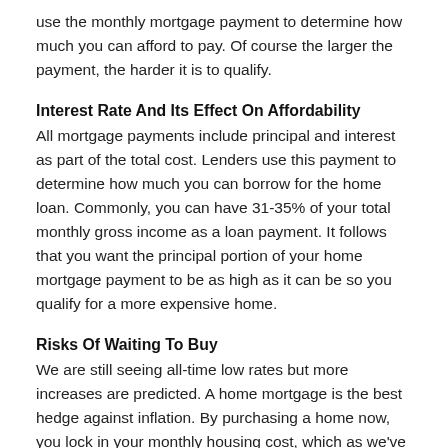use the monthly mortgage payment to determine how much you can afford to pay. Of course the larger the payment, the harder it is to qualify.
Interest Rate And Its Effect On Affordability
All mortgage payments include principal and interest as part of the total cost. Lenders use this payment to determine how much you can borrow for the home loan. Commonly, you can have 31-35% of your total monthly gross income as a loan payment. It follows that you want the principal portion of your home mortgage payment to be as high as it can be so you qualify for a more expensive home.
Risks Of Waiting To Buy
We are still seeing all-time low rates but more increases are predicted. A home mortgage is the best hedge against inflation. By purchasing a home now, you lock in your monthly housing cost, which as we've already seen is the largest monthly expense for most families.